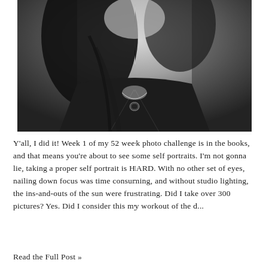[Figure (photo): Black and white portrait photo of a woman with dark hair, wearing a dark blazer and a necklace with a pendant, photographed from chest up.]
Y'all, I did it! Week 1 of my 52 week photo challenge is in the books, and that means you're about to see some self portraits. I'm not gonna lie, taking a proper self portrait is HARD. With no other set of eyes, nailing down focus was time consuming, and without studio lighting, the ins-and-outs of the sun were frustrating. Did I take over 300 pictures? Yes. Did I consider this my workout of the d...
Read the Full Post »